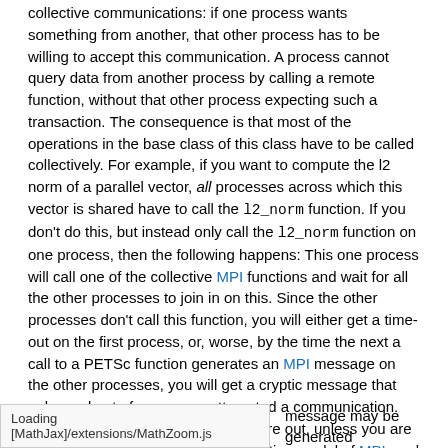collective communications: if one process wants something from another, that other process has to be willing to accept this communication. A process cannot query data from another process by calling a remote function, without that other process expecting such a transaction. The consequence is that most of the operations in the base class of this class have to be called collectively. For example, if you want to compute the l2 norm of a parallel vector, all processes across which this vector is shared have to call the l2_norm function. If you don't do this, but instead only call the l2_norm function on one process, then the following happens: This one process will call one of the collective MPI functions and wait for all the other processes to join in on this. Since the other processes don't call this function, you will either get a time-out on the first process, or, worse, by the time the next a call to a PETSc function generates an MPI message on the other processes, you will get a cryptic message that only a subset of processes attempted a communication. These bugs can be very hard to figure out, unless you are well-acquainted with the communication model of MPI, and know which functions may generate MPI messages.
Loading [MathJax]/extensions/MathZoom.js
message may be generated